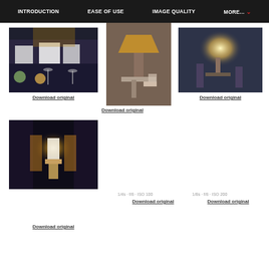INTRODUCTION   EASE OF USE   IMAGE QUALITY   MORE...
[Figure (photo): Two bartenders behind a bar with cocktails in foreground]
[Figure (photo): Decorative lamp on a table with a candle]
[Figure (photo): Candle wall sconce in a dimly lit stone room]
Download original
Download original
Download original
[Figure (photo): Ornate wall lamp against dark draped background]
1/4s · f/8 · ISO 100
1/8s · f/8 · ISO 200
Download original
Download original
Download original